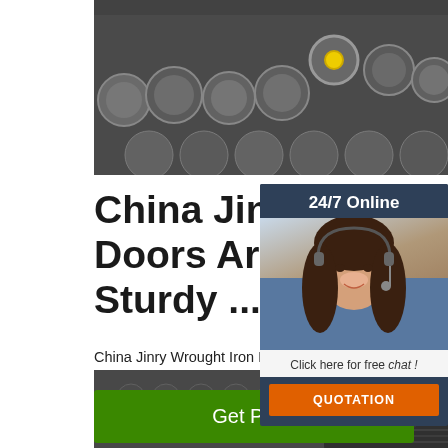[Figure (photo): Top photo showing metal round bars/rods stacked together, viewed from the ends, dark grey industrial setting]
China Jinry Wrought Iron Doors Are Eye Catching Sturdy ...
China Jinry Wrought Iron Doors Are Eye Catching Sturdy Entry Double Door Secure and All Unique, Find details about China Entry Iron Grand ...
[Figure (screenshot): Chat widget overlay: '24/7 Online' header, photo of a smiling female customer service rep with headset, 'Click here for free chat!' text, and orange QUOTATION button]
[Figure (logo): Orange TOP logo with dotted triangle/arc pattern above the text TOP]
[Figure (photo): Bottom photo showing dark metallic pipes/tubes arranged in a bundle, industrial setting]